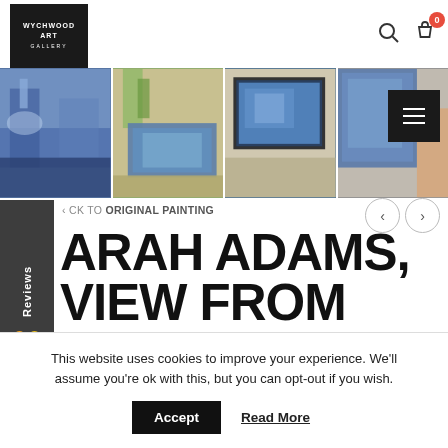[Figure (logo): Wychwood Art Gallery logo — white text on black square]
[Figure (photo): Strip of four thumbnail photos showing a London cityscape painting (acrylic on canvas) from different angles — close-up of paint, painting on floor, painting framed, hand holding canvas edge]
< CK TO ORIGINAL PAINTING
SARAH ADAMS, VIEW FROM THE SHARD, DINKY LONDON COLLECTION, ACRYLIC ON CANVAS. ORIGINAL LONDON
This website uses cookies to improve your experience. We'll assume you're ok with this, but you can opt-out if you wish.
Accept  Read More